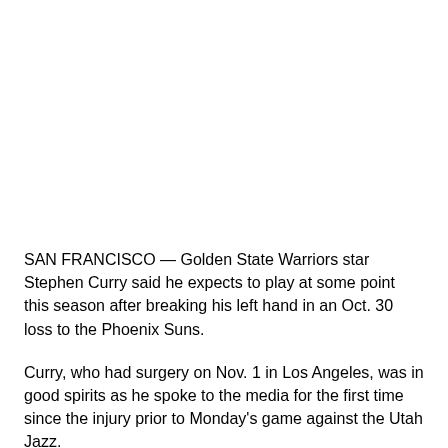SAN FRANCISCO — Golden State Warriors star Stephen Curry said he expects to play at some point this season after breaking his left hand in an Oct. 30 loss to the Phoenix Suns.
Curry, who had surgery on Nov. 1 in Los Angeles, was in good spirits as he spoke to the media for the first time since the injury prior to Monday's game against the Utah Jazz.
“I definitely expect to be ready to play,” Curry said. “I don’t know